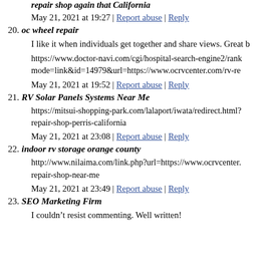repair shop again that California
May 21, 2021 at 19:27 | Report abuse | Reply
20. oc wheel repair
I like it when individuals get together and share views. Great b
https://www.doctor-navi.com/cgi/hospital-search-engine2/rank mode=link&id=14979&url=https://www.ocrvcenter.com/rv-re
May 21, 2021 at 19:52 | Report abuse | Reply
21. RV Solar Panels Systems Near Me
https://mitsui-shopping-park.com/lalaport/iwata/redirect.html? repair-shop-perris-california
May 21, 2021 at 23:08 | Report abuse | Reply
22. indoor rv storage orange county
http://www.nilaima.com/link.php?url=https://www.ocrvcenter. repair-shop-near-me
May 21, 2021 at 23:49 | Report abuse | Reply
23. SEO Marketing Firm
I couldn't resist commenting. Well written!